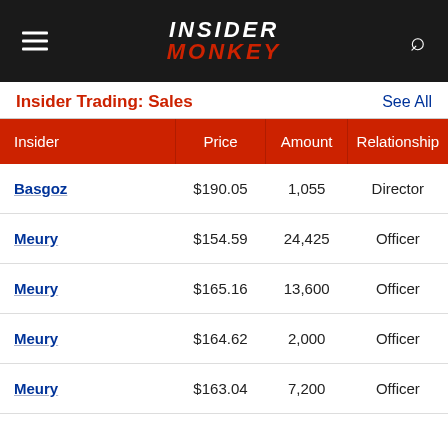INSIDER MONKEY
Insider Trading: Sales
| Insider | Price | Amount | Relationship | Rema |
| --- | --- | --- | --- | --- |
| Basgoz | $190.05 | 1,055 | Director |  |
| Meury | $154.59 | 24,425 | Officer |  |
| Meury | $165.16 | 13,600 | Officer |  |
| Meury | $164.62 | 2,000 | Officer |  |
| Meury | $163.04 | 7,200 | Officer |  |